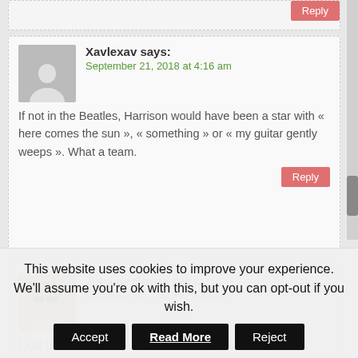Reply
Xavlexav says:
September 21, 2018 at 4:16 am
If not in the Beatles, Harrison would have been a star with « here comes the sun », « something » or « my guitar gently weeps ». What a team.
Reply
Julia de Souza says:
December 13, 2018 at 9:20 am
I just posted a comment about George Harrison.
This website uses cookies to improve your experience. We'll assume you're ok with this, but you can opt-out if you wish.
Accept  Read More  Reject